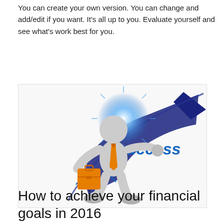You can create your own version. You can change and add/edit if you want. It's all up to you. Evaluate yourself and see what's work best for you.
[Figure (illustration): A 3D cartoon figure of a businessman in grey, wearing an orange tie and holding an orange briefcase, standing in front of a large dark blue arrow/success graphic with the word 'success' in blue text and a blue starburst light effect behind]
How to achieve your financial goals in 2016